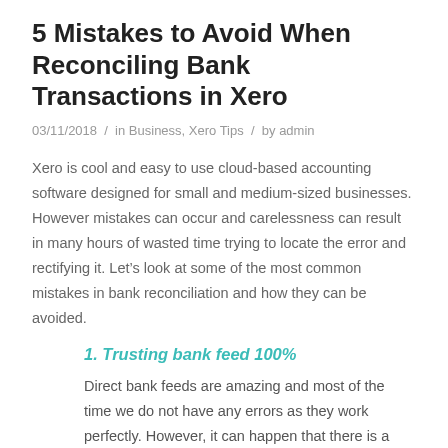5 Mistakes to Avoid When Reconciling Bank Transactions in Xero
03/11/2018  /  in Business, Xero Tips  /  by admin
Xero is cool and easy to use cloud-based accounting software designed for small and medium-sized businesses. However mistakes can occur and carelessness can result in many hours of wasted time trying to locate the error and rectifying it. Let’s look at some of the most common mistakes in bank reconciliation and how they can be avoided.
1. Trusting bank feed 100%
Direct bank feeds are amazing and most of the time we do not have any errors as they work perfectly. However, it can happen that there is a break in the feed and a day or more are missed, especially if you don’t reconnect the bank feed in good time. This will result in unrecorded expenses or customer payments